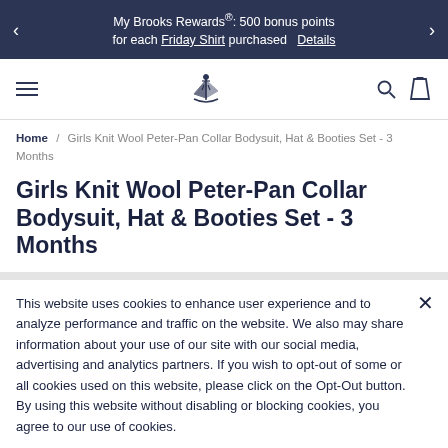My Brooks Rewards®: 500 bonus points for each Friday Shirt purchased  Details
[Figure (logo): Brooks Brothers logo — sailing figure illustration]
Home / Girls Knit Wool Peter-Pan Collar Bodysuit, Hat & Booties Set - 3 Months
Girls Knit Wool Peter-Pan Collar Bodysuit, Hat & Booties Set - 3 Months
This website uses cookies to enhance user experience and to analyze performance and traffic on the website. We also may share information about your use of our site with our social media, advertising and analytics partners. If you wish to opt-out of some or all cookies used on this website, please click on the Opt-Out button. By using this website without disabling or blocking cookies, you agree to our use of cookies.